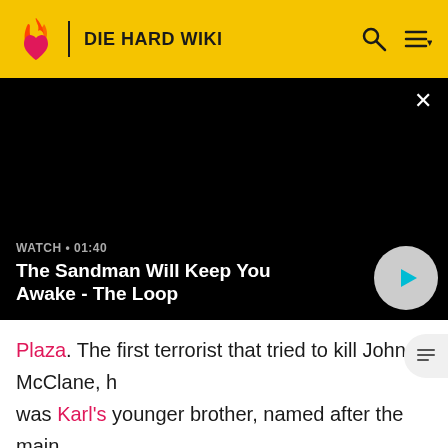DIE HARD WIKI
[Figure (screenshot): Black video player with WATCH • 01:40 label and title 'The Sandman Will Keep You Awake - The Loop', with a grey play button circle on the right]
Plaza. The first terrorist that tried to kill John McClane, he was Karl's younger brother, named after the main antagonist, Anton "Little Tony the Red" of Roderick Thorp's novel Nothing Lasts Forever, which was later made into Die Hard, meaning that Tony's full name is likely Anton. He